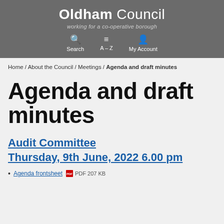[Figure (logo): Oldham Council logo with text 'working for a co-operative borough' on dark grey background, with Search, A-Z, and My Account navigation icons]
Home / About the Council / Meetings / Agenda and draft minutes
Agenda and draft minutes
Audit Committee Thursday, 9th June, 2022 6.00 pm
Agenda frontsheet PDF 207 KB